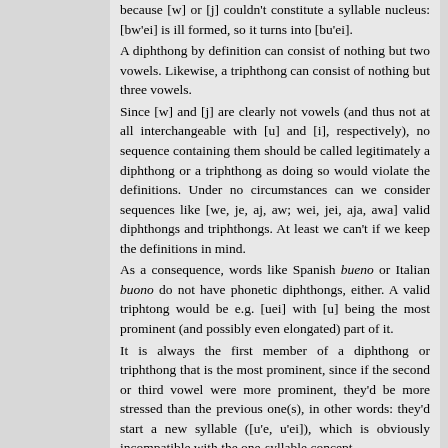because [w] or [j] couldn't constitute a syllable nucleus: [bw'ei] is ill formed, so it turns into [bu'ei]. A diphthong by definition can consist of nothing but two vowels. Likewise, a triphthong can consist of nothing but three vowels. Since [w] and [j] are clearly not vowels (and thus not at all interchangeable with [u] and [i], respectively), no sequence containing them should be called legitimately a diphthong or a triphthong as doing so would violate the definitions. Under no circumstances can we consider sequences like [we, je, aj, aw; wei, jei, aja, awa] valid diphthongs and triphthongs. At least we can't if we keep the definitions in mind. As a consequence, words like Spanish bueno or Italian buono do not have phonetic diphthongs, either. A valid triphtong would be e.g. [uei] with [u] being the most prominent (and possibly even elongated) part of it. It is always the first member of a diphthong or triphthong that is the most prominent, since if the second or third vowel were more prominent, they'd be more stressed than the previous one(s), in other words: they'd start a new syllable ([u'e, u'ei]), which is obviously incompatible with the one-syllable concept